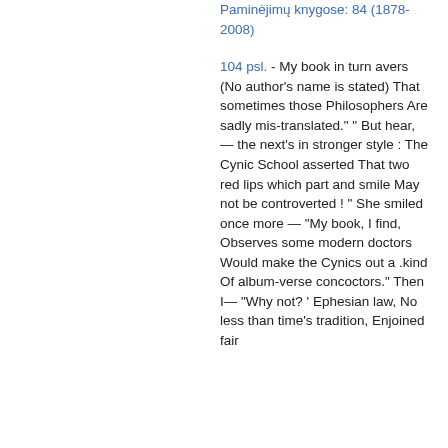Paminėjimų knygose: 84 (1878-2008)
104 psl. - My book in turn avers (No author's name is stated) That sometimes those Philosophers Are sadly mis-translated." " But hear, — the next's in stronger style : The Cynic School asserted That two red lips which part and smile May not be controverted ! " She smiled once more — "My book, I find, Observes some modern doctors Would make the Cynics out a .kind Of album-verse concoctors." Then I— "Why not? ' Ephesian law, No less than time's tradition, Enjoined fair